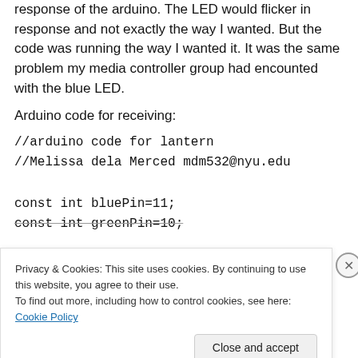response of the arduino. The LED would flicker in response and not exactly the way I wanted. But the code was running the way I wanted it. It was the same problem my media controller group had encounted with the blue LED.
Arduino code for receiving:
//arduino code for lantern
//Melissa dela Merced mdm532@nyu.edu

const int bluePin=11;
const int greenPin=10;
Privacy & Cookies: This site uses cookies. By continuing to use this website, you agree to their use.
To find out more, including how to control cookies, see here: Cookie Policy
Close and accept